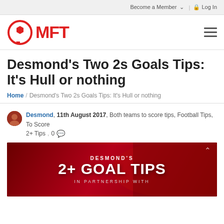Become a Member  Log In
[Figure (logo): MFT logo: red circle with soccer ball icon and red MFT text]
Desmond's Two 2s Goals Tips: It's Hull or nothing
Home / Desmond's Two 2s Goals Tips: It's Hull or nothing
Desmond, 11th August 2017, Both teams to score tips, Football Tips, To Score 2+ Tips, 0
[Figure (photo): Red banner image with text: DESMOND'S 2+ GOAL TIPS IN PARTNERSHIP WITH, showing a footballer celebrating in red tones]